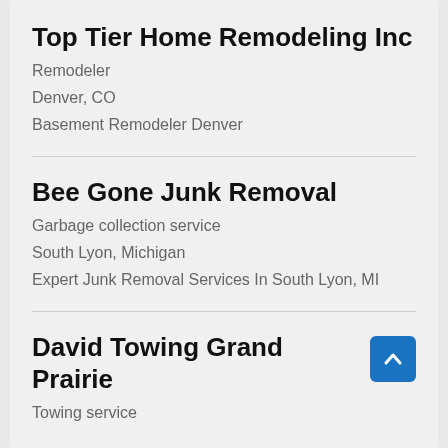Top Tier Home Remodeling Inc
Remodeler
Denver, CO
Basement Remodeler Denver
Bee Gone Junk Removal
Garbage collection service
South Lyon, Michigan
Expert Junk Removal Services In South Lyon, MI
David Towing Grand Prairie
Towing service